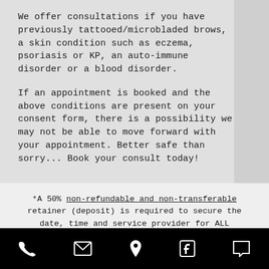We offer consultations if you have previously tattooed/microbladed brows, a skin condition such as eczema, psoriasis or KP, an auto-immune disorder or a blood disorder.

If an appointment is booked and the above conditions are present on your consent form, there is a possibility we may not be able to move forward with your appointment. Better safe than sorry... Book your consult today!
*A 50% non-refundable and non-transferable retainer (deposit) is required to secure the date, time and service provider for ALL permanent makeup appointments. We require the payment to be processed at the time of
[phone icon] [email icon] [location icon] [facebook icon] [chat icon]